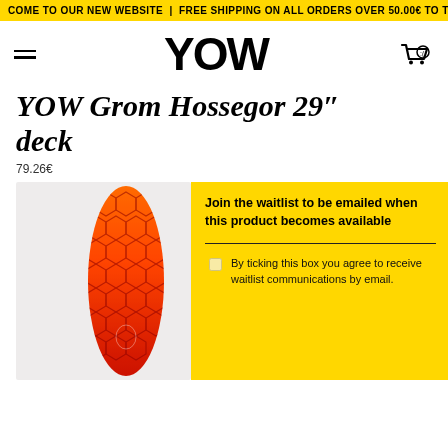COME TO OUR NEW WEBSITE | FREE SHIPPING ON ALL ORDERS OVER 50.00€ TO THE ...
[Figure (logo): YOW brand logo in bold black text, navigation bar with hamburger menu and cart icon]
YOW Grom Hossegor 29" deck
79.26€
[Figure (photo): YOW Grom Hossegor 29 inch surfskate deck with orange/red honeycomb pattern on gray background]
Join the waitlist to be emailed when this product becomes available